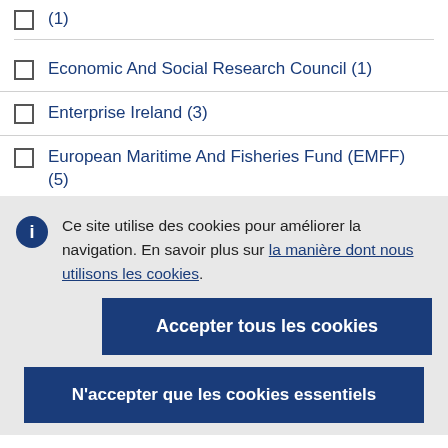(1)
Economic And Social Research Council (1)
Enterprise Ireland (3)
European Maritime And Fisheries Fund (EMFF) (5)
Ce site utilise des cookies pour améliorer la navigation. En savoir plus sur la manière dont nous utilisons les cookies.
Accepter tous les cookies
N'accepter que les cookies essentiels